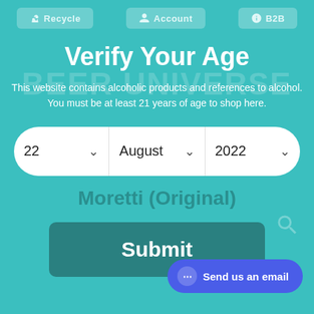Recycle  Account  B2B
Verify Your Age
This website contains alcoholic products and references to alcohol. You must be at least 21 years of age to shop here.
[Figure (screenshot): Age verification date selector with three dropdown fields showing: 22 (day), August (month), 2022 (year)]
Moretti (Original)
Submit
Send us an email